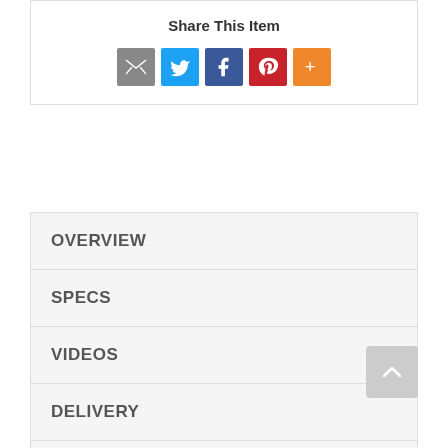Share This Item
[Figure (infographic): Social share buttons: email (gray), Twitter (blue), Facebook (blue), Pinterest (red), More (orange)]
OVERVIEW
SPECS
VIDEOS
DELIVERY
WARRANTY
Iconic with a tulip-shaped base, this narrow and